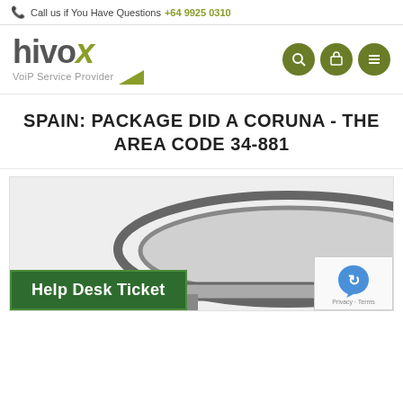Call us if You Have Questions +64 9925 0310
[Figure (logo): Hivoox VoiP Service Provider logo with green X accent]
SPAIN: PACKAGE DID A CORUNA - THE AREA CODE 34-881
[Figure (photo): Product image showing a gray mesh office chair on light gray background]
Help Desk Ticket